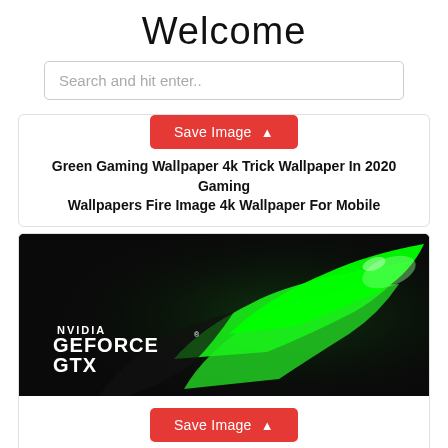Welcome
Search and hit enter..
[Figure (screenshot): Partial card with Save Image button (red) visible at top, and text about Green Gaming Wallpaper 4k Trick Wallpaper In 2020 Gaming Wallpapers Fire Image 4k Wallpaper For Mobile]
[Figure (photo): NVIDIA GEFORCE GTX wallpaper image with green logo on black background]
Save Image
Geforce Gtx Nvidia Green Logo Hd Wallpaper 1920x1080 Duvar Kagidi Teknoloji Samsung